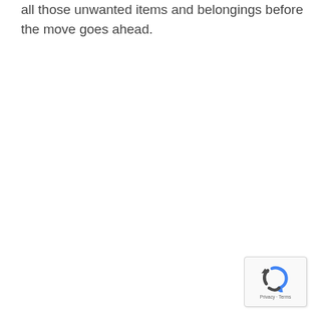all those unwanted items and belongings before the move goes ahead.
[Figure (logo): reCAPTCHA widget with spinning arrows logo and 'Privacy · Terms' text at the bottom]